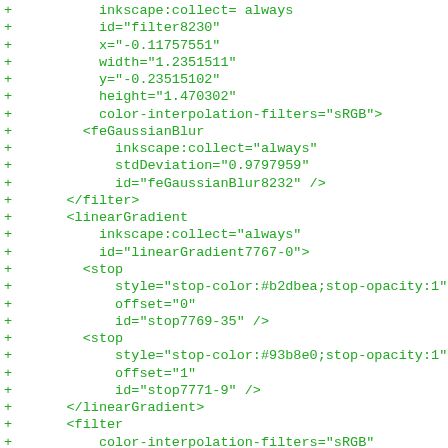+         inkscape:collect= always
+         id="filter8230"
+         x="-0.11757551"
+         width="1.2351511"
+         y="-0.23515102"
+         height="1.470302"
+         color-interpolation-filters="sRGB">
+       <feGaussianBlur
+           inkscape:collect="always"
+           stdDeviation="0.9797959"
+           id="feGaussianBlur8232" />
+     </filter>
+     <linearGradient
+         inkscape:collect="always"
+         id="linearGradient7767-0">
+       <stop
+           style="stop-color:#b2dbea;stop-opacity:1"
+           offset="0"
+           id="stop7769-35" />
+       <stop
+           style="stop-color:#93b8e0;stop-opacity:1"
+           offset="1"
+           id="stop7771-9" />
+     </linearGradient>
+     <filter
+         color-interpolation-filters="sRGB"
+         inkscape:collect="always"
+         id="filter7759-0">
+       <feGaussianBlur
+           inkscape:collect="always"
+           stdDeviation="5.8125"
+           id="feGaussianBlur7761-9" />
+     </filter>